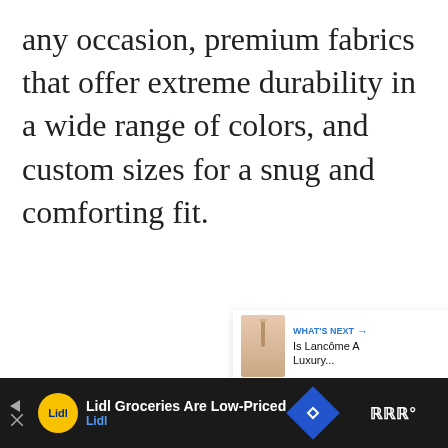any occasion, premium fabrics that offer extreme durability in a wide range of colors, and custom sizes for a snug and comforting fit.
[Figure (screenshot): Web page UI element area: gray loading placeholder with three dots, heart/favorite button (blue circle), share button (white circle with shadow), and a 'What's Next' card showing a Lancôme article thumbnail]
[Figure (screenshot): Advertisement bar at the bottom: Lidl ad with yellow circle logo, text 'Lidl Groceries Are Low-Priced' and 'Lidl', blue navigation diamond, weather icon on far right]